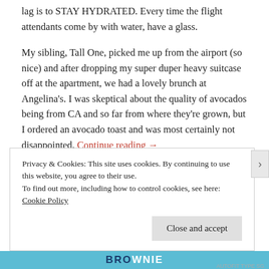lag is to STAY HYDRATED. Every time the flight attendants come by with water, have a glass.
My sibling, Tall One, picked me up from the airport (so nice) and after dropping my super duper heavy suitcase off at the apartment, we had a lovely brunch at Angelina's. I was skeptical about the quality of avocados being from CA and so far from where they're grown, but I ordered an avocado toast and was most certainly not disappointed. Continue reading →
Privacy & Cookies: This site uses cookies. By continuing to use this website, you agree to their use.
To find out more, including how to control cookies, see here: Cookie Policy
Close and accept